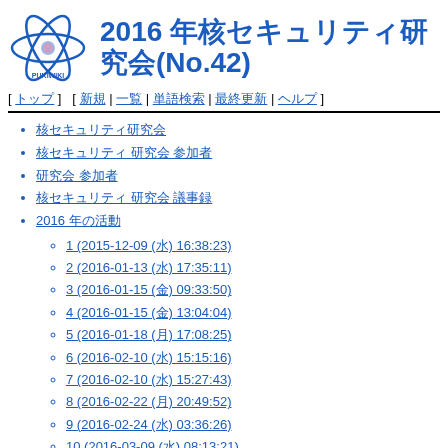2016 年核セキュリティ研究会(No.42)
核セキュリティ研究会
核セキュリティ 研究会 参加者
研究会 参加者
核セキュリティ 研究会 議事録
2016 年の活動
1 (2015-12-09 (水) 16:38:23)
2 (2016-01-13 (水) 17:35:11)
3 (2016-01-15 (金) 09:33:50)
4 (2016-01-15 (金) 13:04:04)
5 (2016-01-18 (月) 17:08:25)
6 (2016-02-10 (水) 15:15:16)
7 (2016-02-10 (水) 15:27:43)
8 (2016-02-22 (月) 20:49:52)
9 (2016-02-24 (水) 03:36:26)
10 (2016-03-09 (水) 08:13:21)
11 (2016-03-09 (水) 19:10:53)
12 (2016-03-14 (月) 01:10:19)